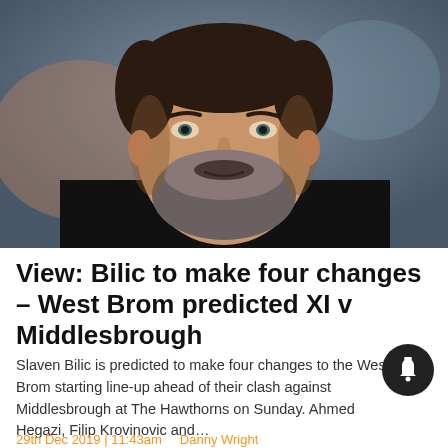[Figure (photo): Close-up photograph of a middle-aged man with dark hair graying beard, wearing a black jacket and light blue shirt, looking intensely at camera against a blurred background]
View: Bilic to make four changes – West Brom predicted XI v Middlesbrough
Slaven Bilic is predicted to make four changes to the West Brom starting line-up ahead of their clash against Middlesbrough at The Hawthorns on Sunday. Ahmed Hegazi, Filip Krovinovic and…
29th Dec 2019 | 11:43am    Danny Wright